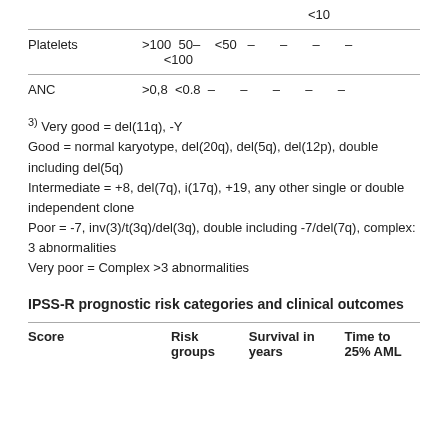|  |  |
| --- | --- |
|  | <10 |
| Platelets | >100  50–<100  <50  –  –  –  – |
| ANC | >0,8  <0.8  –  –  –  –  – |
3) Very good = del(11q), -Y
Good = normal karyotype, del(20q), del(5q), del(12p), double including del(5q)
Intermediate = +8, del(7q), i(17q), +19, any other single or double independent clone
Poor = -7, inv(3)/t(3q)/del(3q), double including -7/del(7q), complex: 3 abnormalities
Very poor = Complex >3 abnormalities
IPSS-R prognostic risk categories and clinical outcomes
| Score | Risk groups | Survival in years | Time to 25% AML |
| --- | --- | --- | --- |